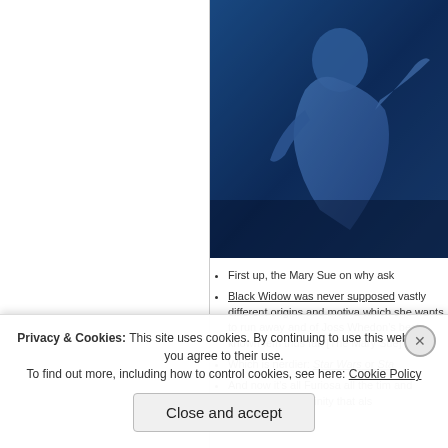[Figure (photo): Blue-tinted action photo showing a person in a dynamic pose against a dark blue background, positioned in the upper right portion of the page]
First up, the Mary Sue on why ask
Black Widow was never supposed vastly different origins and motiva which she wants to run away and of Joss Whedon's best known fem thus far. [The Mary Sue]
Which is nerdier: Star Wars or Sta
And now it's all Furiosa all the tim and compulsory femininity that als
Privacy & Cookies: This site uses cookies. By continuing to use this website, you agree to their use.
To find out more, including how to control cookies, see here: Cookie Policy
Close and accept